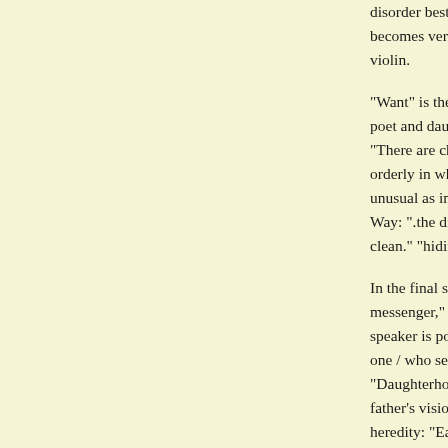disorder best described as "Lightning finds a way to em becomes very personal in its experience of pain, trigger violin.
"Want" is the title of the third section. Here in "The Ind poet and daughter develops an undercurrent --the threat "There are charts of anomalies / at the back of the weat orderly in white." Skillman's treatment of the natural w unusual as in "Mole," or in "Midwinter," where the mo Way: ".the dish / turning under a stream of water / so it clean." "hiding animals who live in the sky."
In the final section, "The Robin," the title poem advises messenger," moves on to "Black August," a wonderfully speaker is politely distanced from a child's punishment, one / who sees no evil, hears no evil, / and now you kn "Daughterhood" takes us through the poet's sympatheti father's vision problems, concretely and metaphorically heredity: "Each new form blooming like curse."
The volume concludes with the lyrical poem, "Orname disagreement between two lovers is compared to seaso moving coldly / between branches" and the perfect last beautiful is the same, / but not quite, as forgiven."
Judith Skillman's poems have appeared in PoetsWest, S Review, Northwest Review, and Fine Madness. Her oth Visible Spectrum (Breitenbush, 1988) and Beethoven ar Begonia Press, 1996).